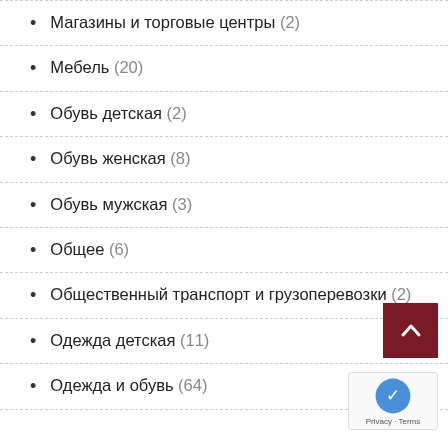Магазины и торговые центры (2)
Мебель (20)
Обувь детская (2)
Обувь женская (8)
Обувь мужская (3)
Общее (6)
Общественный транспорт и грузоперевозки (2)
Одежда детская (11)
Одежда и обувь (64)